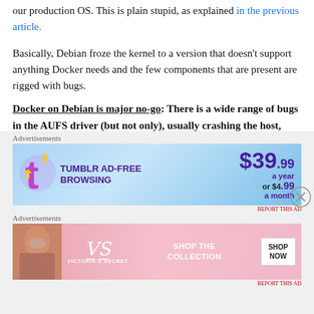our production OS. This is plain stupid, as explained in the previous article.
Basically, Debian froze the kernel to a version that doesn't support anything Docker needs and the few components that are present are rigged with bugs.
Docker on Debian is major no-go: There is a wide range of bugs in the AUFS driver (but not only), usually crashing the host, potentially corrupting the data, and that's just the tip of the iceberg.
[Figure (other): Tumblr Ad-Free Browsing advertisement banner: $39.99 a year or $4.99 a month]
[Figure (other): Victoria's Secret advertisement: Shop The Collection, Shop Now]